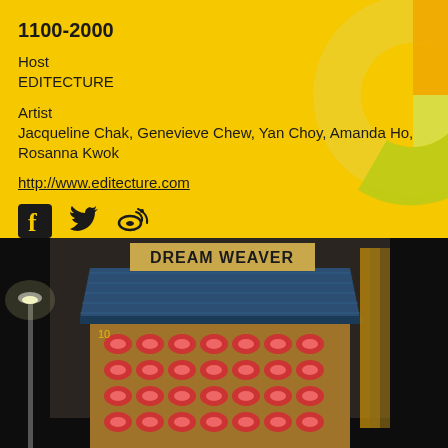1100-2000
Host
EDITECTURE
Artist
Jacqueline Chak, Genevieve Chew, Yan Choy, Amanda Ho, Rosanna Kwok
http://www.editecture.com
[Figure (photo): Social media icons: Facebook, Twitter, Weibo]
[Figure (infographic): Decorative circular pie/donut graphic in orange, yellow-green, and green tones overlaying the yellow background]
[Figure (photo): Night-time photo of an art installation called 'Dream Weaver' - a large box structure with a blue top panel and rows of pink/red thread spools on a brown panel front, lit by a nearby lamp post]